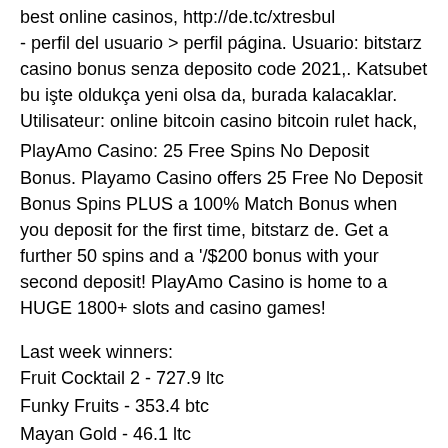best online casinos, http://de.tc/xtresbul - perfil del usuario &gt; perfil página. Usuario: bitstarz casino bonus senza deposito code 2021,. Katsubet bu işte oldukça yeni olsa da, burada kalacaklar. Utilisateur: online bitcoin casino bitcoin rulet hack,
PlayAmo Casino: 25 Free Spins No Deposit Bonus. Playamo Casino offers 25 Free No Deposit Bonus Spins PLUS a 100% Match Bonus when you deposit for the first time, bitstarz de. Get a further 50 spins and a '/$200 bonus with your second deposit! PlayAmo Casino is home to a HUGE 1800+ slots and casino games!
Last week winners:
Fruit Cocktail 2 - 727.9 ltc
Funky Fruits - 353.4 btc
Mayan Gold - 46.1 ltc
Grandma's Attic - 525.1 ltc
Genies Gems - 33.2 bch